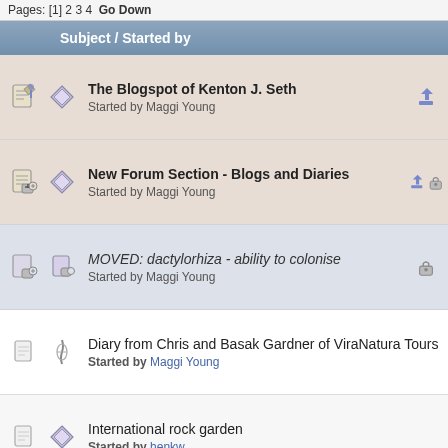Pages: [1] 2 3 4  Go Down
| Subject / Started by |
| --- |
| The Blogspot of Kenton J. Seth
Started by Maggi Young |
| New Forum Section - Blogs and Diaries
Started by Maggi Young |
| MOVED: dactylorhiza - ability to colonise
Started by Maggi Young |
| Diary from Chris and Basak Gardner of ViraNatura Tours
Started by Maggi Young |
| International rock garden
Started by henkw |
| The colours of fall
Started by Hoy |
| My collection garden in Belgium + new website
Started by ruben |
| film on Arte Magic of bogland
Started by partisangardener |